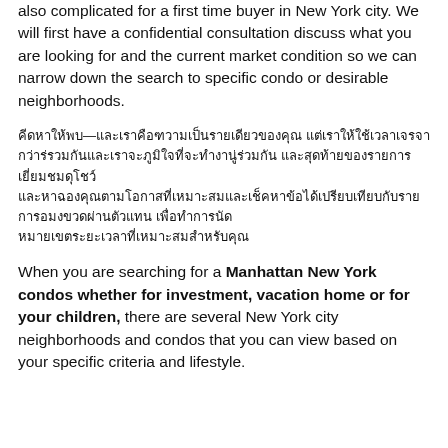also complicated for a first time buyer in New York city. We will first have a confidential consultation discuss what you are looking for and the current market condition so we can narrow down the search to specific condo or desirable neighborhoods.
[Thai script paragraph]
When you are searching for a Manhattan New York condos whether for investment, vacation home or for your children, there are several New York city neighborhoods and condos that you can view based on your specific criteria and lifestyle.